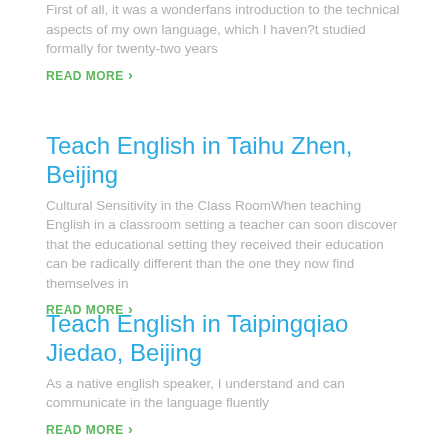First of all, it was a wonderfans introduction to the technical aspects of my own language, which I haven?t studied formally for twenty-two years
READ MORE
Teach English in Taihu Zhen, Beijing
Cultural Sensitivity in the Class RoomWhen teaching English in a classroom setting a teacher can soon discover that the educational setting they received their education can be radically different than the one they now find themselves in
READ MORE
Teach English in Taipingqiao Jiedao, Beijing
As a native english speaker, I understand and can communicate in the language fluently
READ MORE